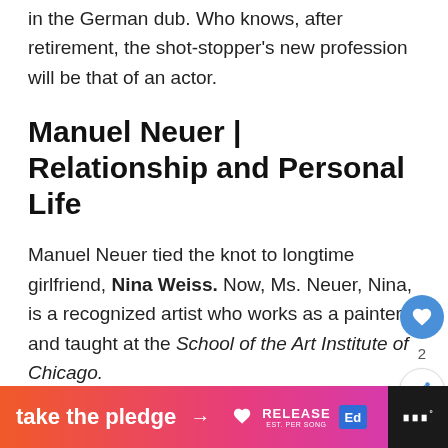in the German dub. Who knows, after retirement, the shot-stopper's new profession will be that of an actor.
Manuel Neuer | Relationship and Personal Life
Manuel Neuer tied the knot to longtime girlfriend, Nina Weiss. Now, Ms. Neuer, Nina, is a recognized artist who works as a painter and taught at the School of the Art Institute of Chicago.
[Figure (infographic): Ad banner: take the pledge with arrow, Release logo and education logo on gradient orange-pink background]
take the pledge